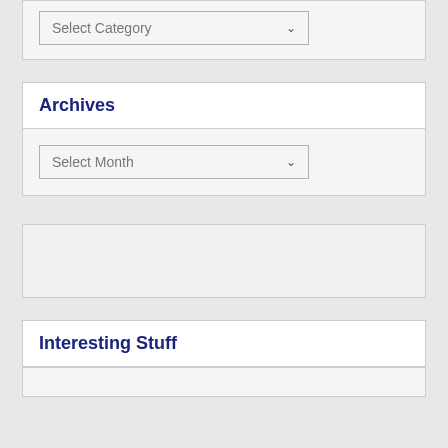[Figure (screenshot): Select Category dropdown widget box (top, partial)]
Archives
[Figure (screenshot): Select Month dropdown widget body]
[Figure (screenshot): Empty widget box]
Interesting Stuff